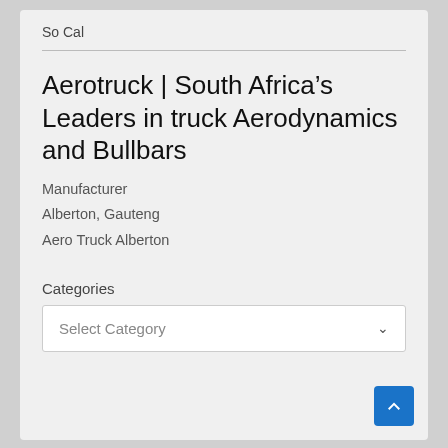So Cal
Aerotruck | South Africa's Leaders in truck Aerodynamics and Bullbars
Manufacturer
Alberton, Gauteng
Aero Truck Alberton
Categories
Select Category